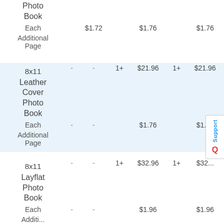| Product |  |  | Qty | Price | Qty | Price |
| --- | --- | --- | --- | --- | --- | --- |
| Photo Book Each Additional Page |  |  |  | $1.72 |  | $1.76 |  | $1.76 |
| 8x11 Leather Cover Photo Book | - | - | 1+ | $21.96 | 1+ | $21.96 |
| Each Additional Page | - | - |  | $1.76 |  | $1.76 |
| 8x11 Layflat Photo Book | - | - | 1+ | $32.96 | 1+ | $32... |
| Each Additional Page | - | - |  | $1.96 |  | $1.96 |